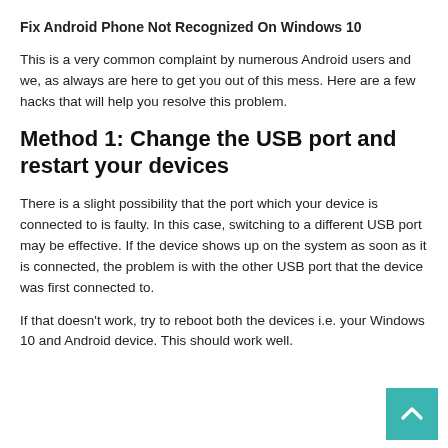Fix Android Phone Not Recognized On Windows 10
This is a very common complaint by numerous Android users and we, as always are here to get you out of this mess. Here are a few hacks that will help you resolve this problem.
Method 1: Change the USB port and restart your devices
There is a slight possibility that the port which your device is connected to is faulty. In this case, switching to a different USB port may be effective. If the device shows up on the system as soon as it is connected, the problem is with the other USB port that the device was first connected to.
If that doesn't work, try to reboot both the devices i.e. your Windows 10 and Android device. This should work well.